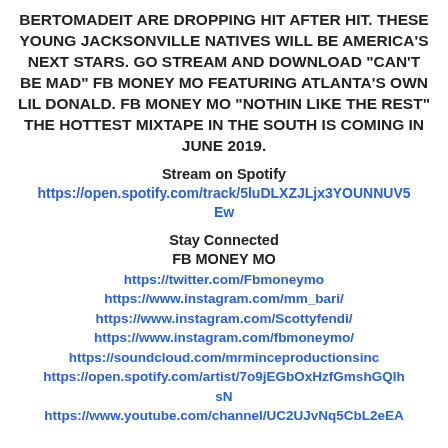BERTOMADEIT ARE DROPPING HIT AFTER HIT. THESE YOUNG JACKSONVILLE NATIVES WILL BE AMERICA'S NEXT STARS. GO STREAM AND DOWNLOAD "CAN'T BE MAD" FB MONEY MO FEATURING ATLANTA'S OWN LIL DONALD. FB MONEY MO "NOTHIN LIKE THE REST" THE HOTTEST MIXTAPE IN THE SOUTH IS COMING IN JUNE 2019.
Stream on Spotify
https://open.spotify.com/track/5luDLXZJLjx3YOUNNUV5Ew
Stay Connected
FB MONEY MO
https://twitter.com/Fbmoneymo
https://www.instagram.com/mm_bari/
https://www.instagram.com/Scottyfendi/
https://www.instagram.com/fbmoneymo/
https://soundcloud.com/mrminceproductionsinc
https://open.spotify.com/artist/7o9jEGbOxHzfGmshGQlhsN
https://www.youtube.com/channel/UC2UJvNq5CbL2eEA